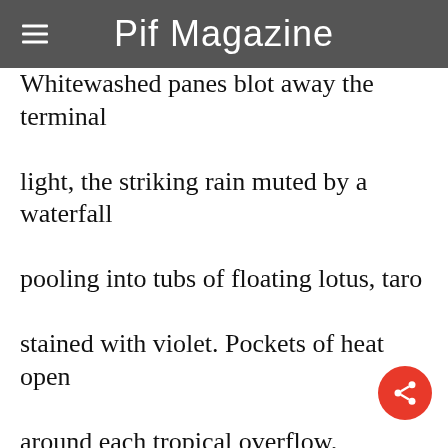Pif Magazine
Whitewashed panes blot away the terminal light, the striking rain muted by a waterfall pooling into tubs of floating lotus, taro stained with violet. Pockets of heat open around each tropical overflow, preening orchids and pitcher plants winding down iron shelves. A pacific breeze fans an aroma of narcissus and lily, a scent of perpetual spring